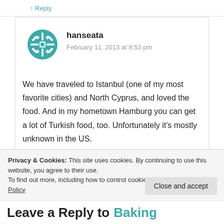↑ Reply
[Figure (illustration): Teal geometric snowflake/flower avatar icon for user hanseata]
hanseata
February 11, 2013 at 8:53 pm
We have traveled to Istanbul (one of my most favorite cities) and North Cyprus, and loved the food. And in my hometown Hamburg you can get a lot of Turkish food, too. Unfortunately it's mostly unknown in the US.
Privacy & Cookies: This site uses cookies. By continuing to use this website, you agree to their use.
To find out more, including how to control cookies, see here: Cookie Policy
Close and accept
Leave a Reply to Baking